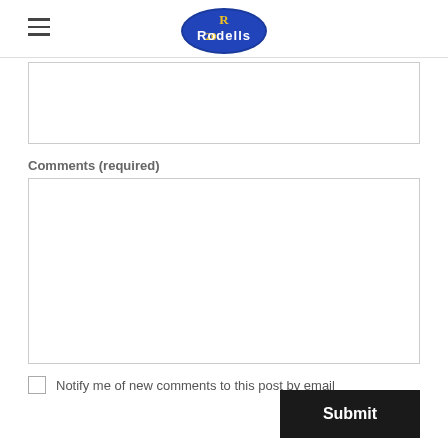Rodells
Comments (required)
Notify me of new comments to this post by email
Submit